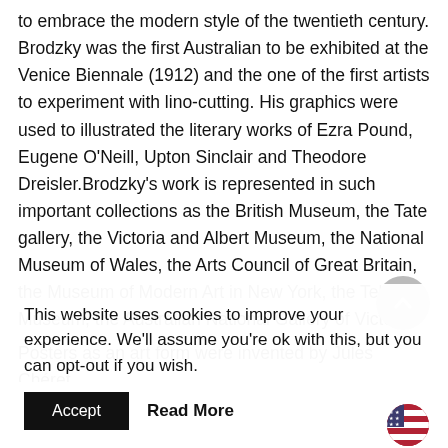to embrace the modern style of the twentieth century. Brodzky was the first Australian to be exhibited at the Venice Biennale (1912) and the one of the first artists to experiment with lino-cutting. His graphics were used to illustrated the literary works of Ezra Pound, Eugene O'Neill, Upton Sinclair and Theodore Dreisler.Brodzky's work is represented in such important collections as the British Museum, the Tate gallery, the Victoria and Albert Museum, the National Museum of Wales, the Arts Council of Great Britain, the Museum of Modern Art in New York, the Tel Aviv Museum, the Australian National Gallery of Victoria.
Posters as an art form were invented by Jules Chéret
This website uses cookies to improve your experience. We'll assume you're ok with this, but you can opt-out if you wish.